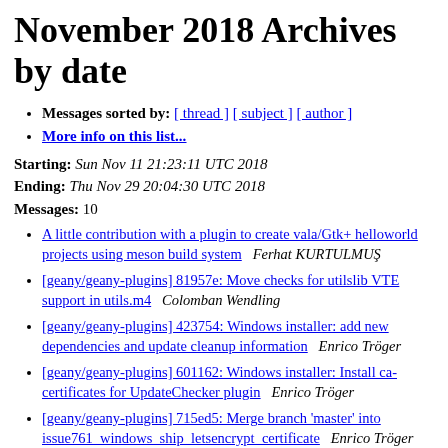November 2018 Archives by date
Messages sorted by: [ thread ] [ subject ] [ author ]
More info on this list...
Starting: Sun Nov 11 21:23:11 UTC 2018
Ending: Thu Nov 29 20:04:30 UTC 2018
Messages: 10
A little contribution with a plugin to create vala/Gtk+ helloworld projects using meson build system   Ferhat KURTULMUŞ
[geany/geany-plugins] 81957e: Move checks for utilslib VTE support in utils.m4   Colomban Wendling
[geany/geany-plugins] 423754: Windows installer: add new dependencies and update cleanup information   Enrico Tröger
[geany/geany-plugins] 601162: Windows installer: Install ca-certificates for UpdateChecker plugin   Enrico Tröger
[geany/geany-plugins] 715ed5: Merge branch 'master' into issue761_windows_ship_letsencrypt_certificate   Enrico Tröger